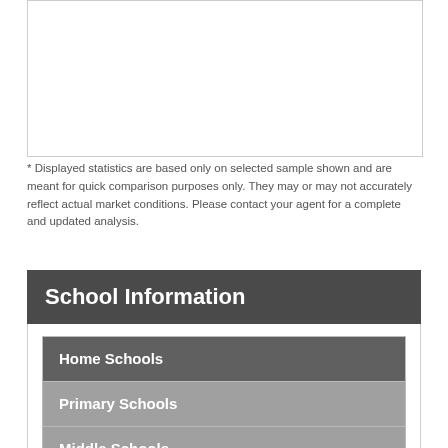[Figure (other): Empty white chart/graph area with light border]
* Displayed statistics are based only on selected sample shown and are meant for quick comparison purposes only. They may or may not accurately reflect actual market conditions. Please contact your agent for a complete and updated analysis.
School Information
Home Schools
Primary Schools
Middle Schools